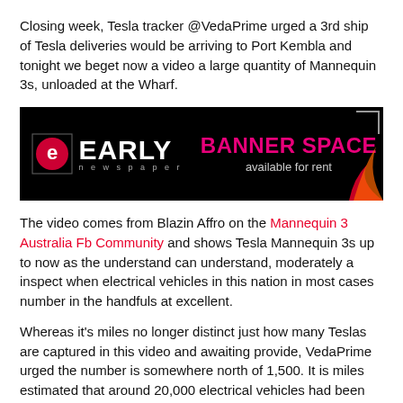Closing week, Tesla tracker @VedaPrime urged a 3rd ship of Tesla deliveries would be arriving to Port Kembla and tonight we beget now a video a large quantity of Mannequin 3s, unloaded at the Wharf.
[Figure (logo): Early Newspaper logo on black background left, and 'BANNER SPACE available for rent' text on black background right]
The video comes from Blazin Affro on the Mannequin 3 Australia Fb Community and shows Tesla Mannequin 3s up to now as the understand can understand, moderately a inspect when electrical vehicles in this nation in most cases number in the handfuls at excellent.
Whereas it's miles no longer distinct just how many Teslas are captured in this video and awaiting provide, VedaPrime urged the number is somewhere north of 1,500. It is miles estimated that around 20,000 electrical vehicles had been bought in Australia since